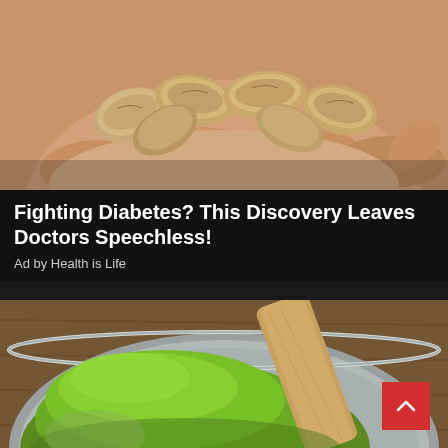[Figure (photo): Close-up photo of a hand holding multiple raw cashew nuts or similar light-brown nuts/seeds against a pale pink background.]
Fighting Diabetes? This Discovery Leaves Doctors Speechless!
Ad by Health is Life
[Figure (photo): Photo of a metal sieve/strainer bowl filled with bright green matcha or moringa powder, with a wooden spatula/paddle resting inside it, on a brown wooden surface.]